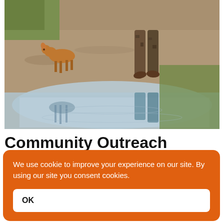[Figure (photo): Outdoor scene showing a person walking in camouflage pants with a small deer/fawn nearby on a dirt path, with a reflective puddle below showing their reflections. Natural sandy/earthy tones with greenery in background.]
Community Outreach
We use cookie to improve your experience on our site. By using our site you consent cookies.
OK